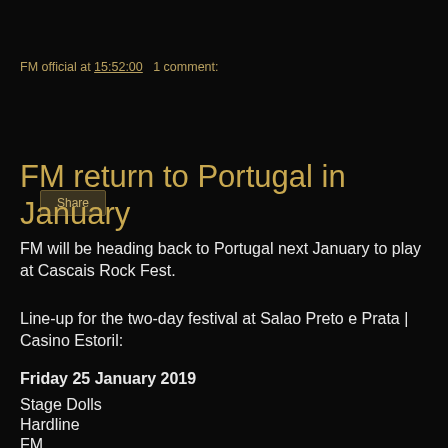FM official at 15:52:00   1 comment:
Share
FM return to Portugal in January
FM will be heading back to Portugal next January to play at Cascais Rock Fest.
Line-up for the two-day festival at Salao Preto e Prata | Casino Estoril:
Friday 25 January 2019
Stage Dolls
Hardline
FM
Saturday 26 January 2019